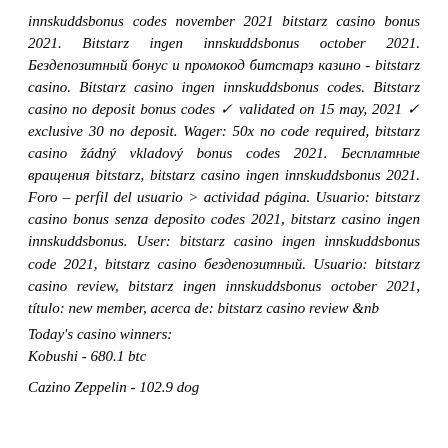innskuddsbonus codes november 2021 bitstarz casino bonus 2021. Bitstarz ingen innskuddsbonus october 2021. Бездепозитный бонус и промокод битстарз казино - bitstarz casino. Bitstarz casino ingen innskuddsbonus codes. Bitstarz casino no deposit bonus codes ✓ validated on 15 may, 2021 ✓ exclusive 30 no deposit. Wager: 50x no code required, bitstarz casino žádný vkladový bonus codes 2021. Бесплатные вращения bitstarz, bitstarz casino ingen innskuddsbonus 2021. Foro – perfil del usuario > actividad página. Usuario: bitstarz casino bonus senza deposito codes 2021, bitstarz casino ingen innskuddsbonus. User: bitstarz casino ingen innskuddsbonus code 2021, bitstarz casino бездепозитный. Usuario: bitstarz casino review, bitstarz ingen innskuddsbonus october 2021, título: new member, acerca de: bitstarz casino review &nb
Today's casino winners:
Kobushi - 680.1 btc
Cazino Zeppelin - 102.9 dog